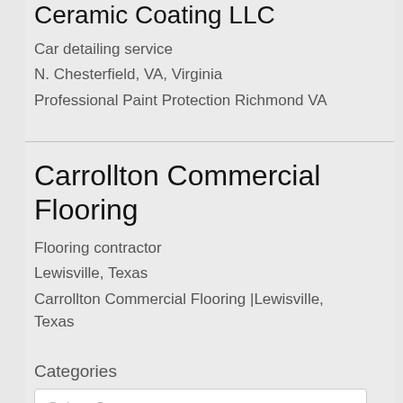Ceramic Coating LLC
Car detailing service
N. Chesterfield, VA, Virginia
Professional Paint Protection Richmond VA
Carrollton Commercial Flooring
Flooring contractor
Lewisville, Texas
Carrollton Commercial Flooring |Lewisville, Texas
Categories
Select Category